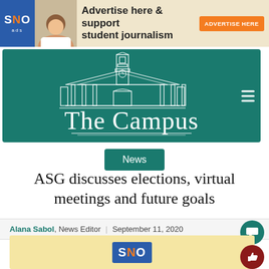[Figure (other): SNO ads banner advertisement - 'Advertise here & support student journalism' with orange ADVERTISE HERE button]
[Figure (logo): The Campus newspaper logo on teal background with building illustration]
News
ASG discusses elections, virtual meetings and future goals
Alana Sabol, News Editor | September 11, 2020
[Figure (other): SNO ads placeholder image at bottom of page]